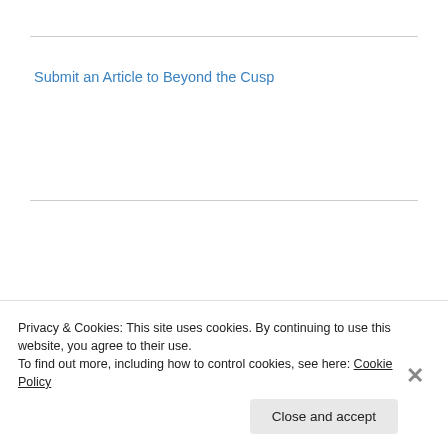Submit an Article to Beyond the Cusp
[Figure (illustration): Decorative ornamental divider featuring dark red/maroon scrollwork and three snowflake/gear-like rosette shapes in the center]
Privacy & Cookies: This site uses cookies. By continuing to use this website, you agree to their use.
To find out more, including how to control cookies, see here: Cookie Policy